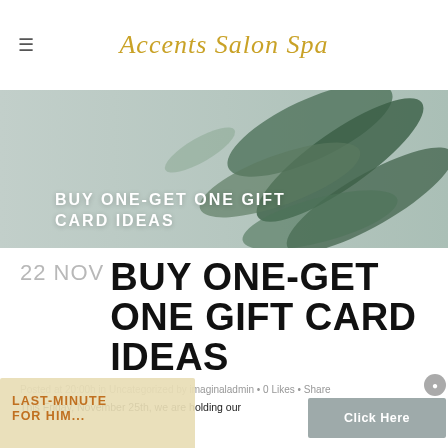≡  Accents Salon Spa
[Figure (illustration): Hero banner with botanical leaf illustration and overlaid title text: BUY ONE-GET ONE GIFT CARD IDEAS]
22 NOV BUY ONE-GET ONE GIFT CARD IDEAS
Posted at 20:00h in Uncategorized by imaginaladmin • 0 Likes • Share
This Friday, November 25th, we are holding our
[Figure (other): Promotional popup overlay: LAST-MINUTE FOR HIM text in orange/gold on beige background, with grey Click Here button and close circle button]